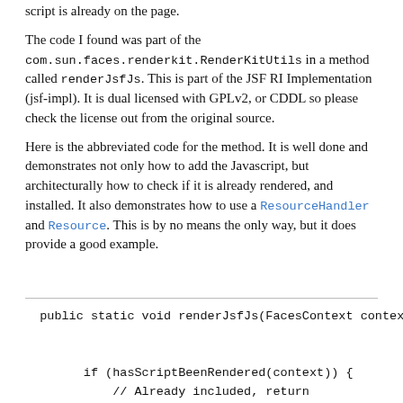script is already on the page.
The code I found was part of the com.sun.faces.renderkit.RenderKitUtils in a method called renderJsfJs. This is part of the JSF RI Implementation (jsf-impl). It is dual licensed with GPLv2, or CDDL so please check the license out from the original source.
Here is the abbreviated code for the method. It is well done and demonstrates not only how to add the Javascript, but architecturally how to check if it is already rendered, and installed. It also demonstrates how to use a ResourceHandler and Resource. This is by no means the only way, but it does provide a good example.
public static void renderJsfJs(FacesContext context) th

        if (hasScriptBeenRendered(context)) {
            // Already included, return
            return;